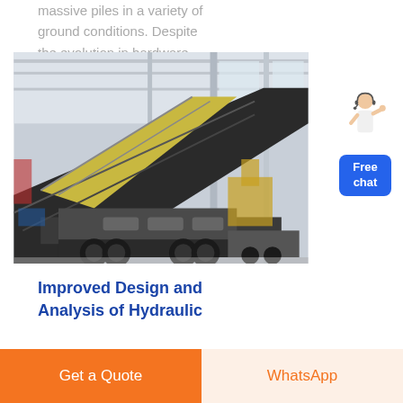massive piles in a variety of ground conditions. Despite the evolution in hardware, the design codes used to
[Figure (photo): A mobile screening/crushing machine on wheeled trailer inside a large industrial warehouse or factory. The machine has a large inclined conveyor/screen structure in dark grey and yellow, with heavy black rubber tires. A yellow excavator is visible in the background.]
[Figure (illustration): A female customer service representative figure gesturing with one hand, positioned above a blue 'Free chat' button.]
Improved Design and Analysis of Hydraulic
Get a Quote
WhatsApp